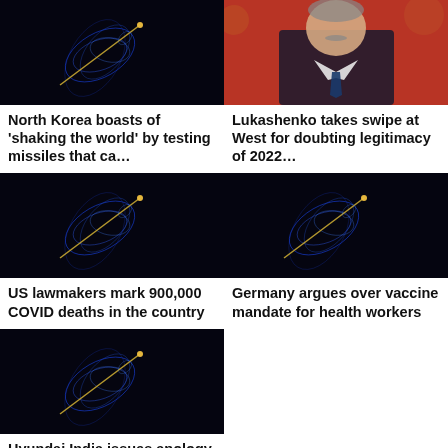[Figure (photo): Dark space/missile trajectory image with blue spiral light trails]
North Korea boasts of 'shaking the world' by testing missiles that ca…
[Figure (photo): Photo of Lukashenko in suit against red background]
Lukashenko takes swipe at West for doubting legitimacy of 2022…
[Figure (photo): Dark space/missile trajectory image with blue spiral light trails]
US lawmakers mark 900,000 COVID deaths in the country
[Figure (photo): Dark space/missile trajectory image with blue spiral light trails]
Germany argues over vaccine mandate for health workers
[Figure (photo): Dark space/missile trajectory image with blue spiral light trails]
Hyundai India issues apology as boycott calls